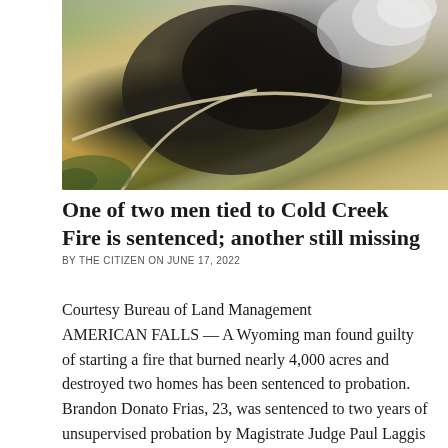[Figure (photo): Aerial photograph of the Cold Creek Fire showing a large burned area with smoke rising from the fire perimeter, surrounded by arid landscape with dirt roads visible]
One of two men tied to Cold Creek Fire is sentenced; another still missing
BY THE CITIZEN ON JUNE 17, 2022
Courtesy Bureau of Land Management AMERICAN FALLS — A Wyoming man found guilty of starting a fire that burned nearly 4,000 acres and destroyed two homes has been sentenced to probation. Brandon Donato Frias, 23, was sentenced to two years of unsupervised probation by Magistrate Judge Paul Laggis for the misdemeanor charge of setting a fire to wildland, according to court documents. He was also